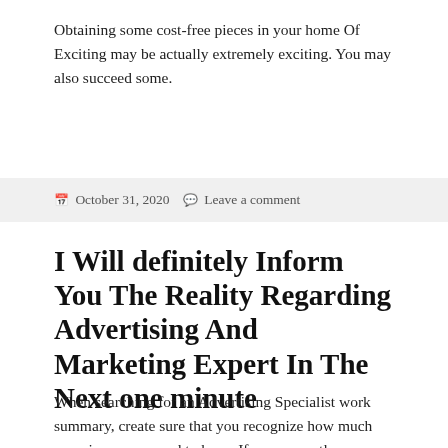Obtaining some cost-free pieces in your home Of Exciting may be actually extremely exciting. You may also succeed some.
October 31, 2020   Leave a comment
I Will definitely Inform You The Reality Regarding Advertising And Marketing Expert In The Next one minute
When searching for an Advertising Specialist work summary, create sure that you recognize how much experience you need to have. If you currently possess a great amount of knowledge but carry out